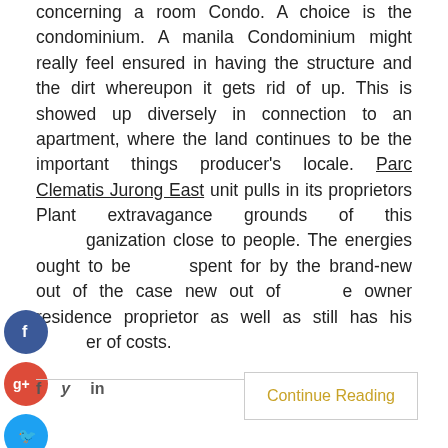concerning a room Condo. A choice is the condominium. A manila Condominium might really feel ensured in having the structure and the dirt whereupon it gets rid of up. This is showed up diversely in connection to an apartment, where the land continues to be the important things producer's locale. Parc Clematis Jurong East unit pulls in its proprietors Plant extravagance grounds of this organization close to people. The energies ought to be spent for by the brand-new out of the case new out of the owner residence proprietor as well as still has his er of costs.